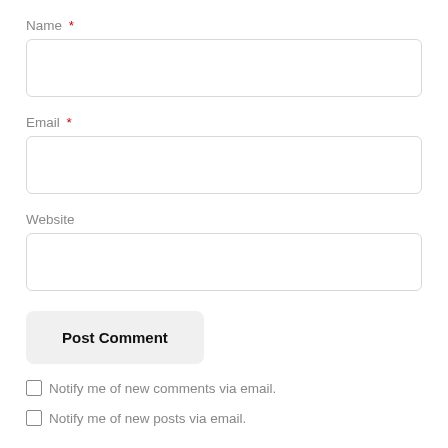Name *
[Figure (other): Empty text input field for Name]
Email *
[Figure (other): Empty text input field for Email]
Website
[Figure (other): Empty text input field for Website]
Post Comment
Notify me of new comments via email.
Notify me of new posts via email.